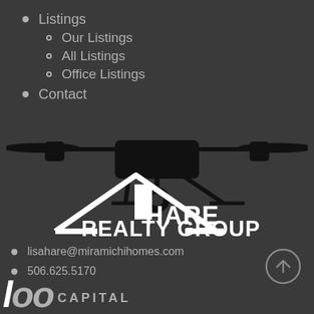Listings
Our Listings
All Listings
Office Listings
Contact
[Figure (logo): Hare Realty Group logo with house roofline silhouette and drone silhouette in black on dark background]
lisahare@miramichihomes.com
506.625.5170
[Figure (illustration): Up arrow in circle (scroll to top button)]
CAPITAL